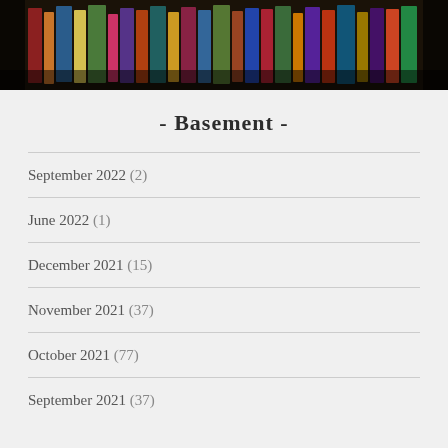[Figure (photo): Photo of colorful books on a dark bookshelf, serving as a banner image]
- Basement -
September 2022 (2)
June 2022 (1)
December 2021 (15)
November 2021 (37)
October 2021 (77)
September 2021 (37)